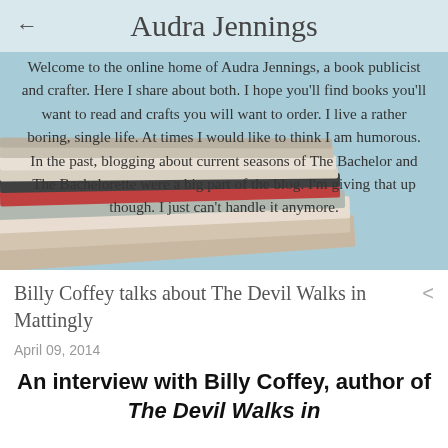Audra Jennings
[Figure (photo): Stack of books on a light blue background with overlay text about Audra Jennings blog]
Welcome to the online home of Audra Jennings, a book publicist and crafter. Here I share about both. I hope you'll find books you'll want to read and crafts you will want to order. I live a rather boring, single life. At times I would like to think I am humorous. In the past, blogging about current seasons of The Bachelor and The Bachelorette were a big part of the blog. I'm giving that up though. I just can't handle it anymore.
Billy Coffey talks about The Devil Walks in Mattingly
April 09, 2014
An interview with Billy Coffey, author of The Devil Walks in